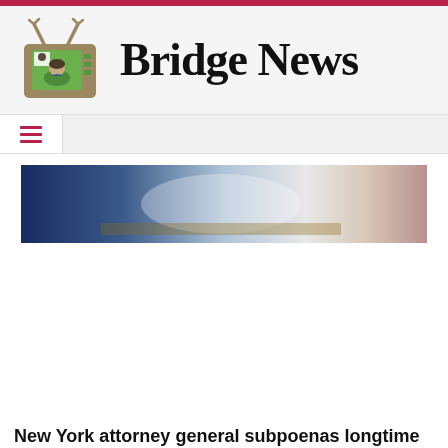[Figure (logo): Bridge News website logo with TV icon showing a news anchor and the text 'Bridge News' in large serif font]
[Figure (photo): Hero image with blurred blue, white and pink background, partially visible text overlay]
New York attorney general subpoenas longtime